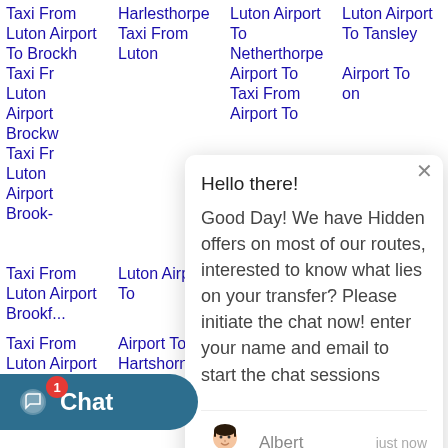Taxi From Luton Airport To Brockh
Harlesthorpe Taxi From Luton
Luton Airport To Netherthorpe
Luton Airport To Tansley
Taxi Fr Luton Airport Brockw
Taxi Fr Luton Airport Brook-
Taxi From Luton Airport Brookf...
Airport To Taxi From Airport To on
Taxi From Airport To Horwich Taxi From Luton Airport To
Luton Airport To Hartshorne Taxi From Luton Airport To
Brookside   Luton          Tetron-Point
[Figure (screenshot): Chat popup widget overlaid on a taxi booking website. Shows greeting: 'Hello there!' and message 'Good Day! We have Hidden offers on most of our routes, interested to know what lies on your transfer? Please initiate the chat now! enter your name and email to start the chat sessions'. Agent name 'Albert' shown with avatar. Timestamp 'just now'. Input field 'Type here.....' with thumbs up, paperclip and emoji icons.]
Chat 1